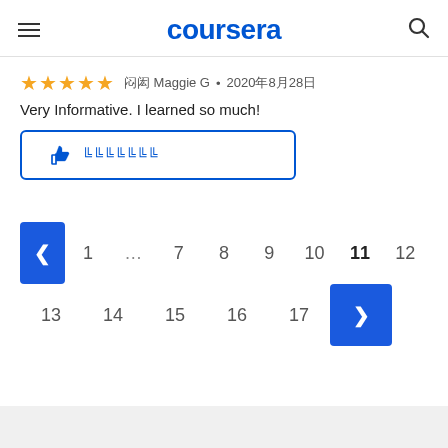coursera
★★★★★ 해의 Maggie G • 2020년8월28일
Very Informative. I learned so much!
[Figure (other): Helpful button with thumbs up icon and placeholder text]
[Figure (other): Pagination control showing pages 1 ... 7 8 9 10 11 12 13 14 15 16 17 with navigation arrows, current page 11 highlighted]